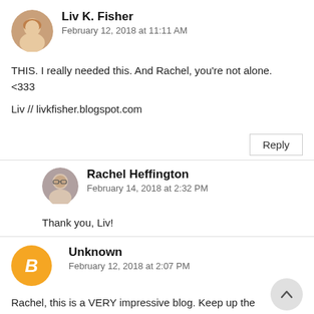Liv K. Fisher
February 12, 2018 at 11:11 AM
THIS. I really needed this. And Rachel, you're not alone. <333

Liv // livkfisher.blogspot.com
Reply
Rachel Heffington
February 14, 2018 at 2:32 PM
Thank you, Liv!
Unknown
February 12, 2018 at 2:07 PM
Rachel, this is a VERY impressive blog. Keep up the